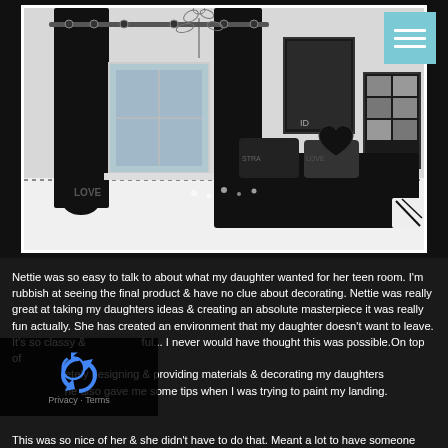[Figure (photo): Black and white decorated teen bedroom with black curtains, black bedding, heart-shaped pillow, One Direction posters on wall, white floor with polka dots, floral wall art.]
Nettie was so easy to talk to about what my daughter wanted for her teen room. I'm rubbish at seeing the final product & have no clue about decorating. Nettie was really great at taking my daughters ideas & creating an absolute masterpiece it was really fun actually. She has created an environment that my daughter doesn't want to leave. It's so classy & ful... I never would have thought this was possible.On top of etely designing & providing materials & decorating my daughters he also gave me some tips when I was trying to paint my landing.
This was so nice of her & she didn't have to do that. Meant a lot to have someone